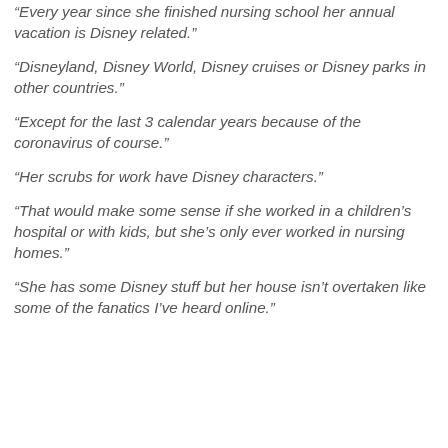“Every year since she finished nursing school her annual vacation is Disney related.”
“Disneyland, Disney World, Disney cruises or Disney parks in other countries.”
“Except for the last 3 calendar years because of the coronavirus of course.”
“Her scrubs for work have Disney characters.”
“That would make some sense if she worked in a children’s hospital or with kids, but she’s only ever worked in nursing homes.”
“She has some Disney stuff but her house isn’t overtaken like some of the fanatics I’ve heard online.”